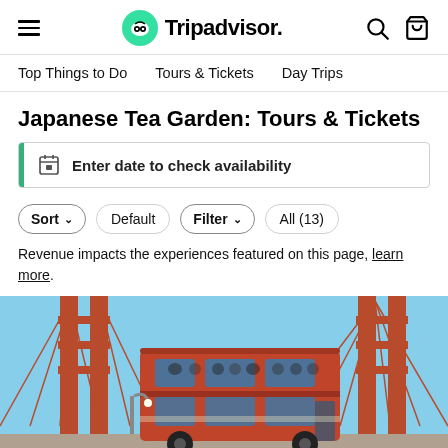Tripadvisor
Top Things to Do
Tours & Tickets
Day Trips
Japanese Tea Garden: Tours & Tickets
Enter date to check availability
Sort  Default  Filter  All (13)
Revenue impacts the experiences featured on this page, learn more.
[Figure (photo): Red double-decker bus on the Golden Gate Bridge with blue sky and cable stays in background]